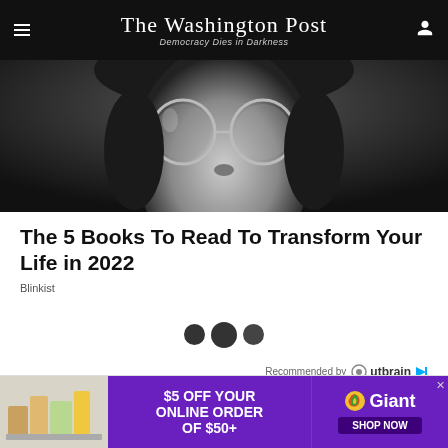The Washington Post
Democracy Dies in Darkness
[Figure (photo): Black and white close-up photo of a person wearing round glasses, looking downward]
The 5 Books To Read To Transform Your Life in 2022
Blinkist
[Figure (other): Three loading dots (circles) indicating content loading]
Recommended by Outbrain
[Figure (other): Advertisement banner: $5 OFF YOUR ONLINE ORDER OF $50+ Giant SHOP NOW]